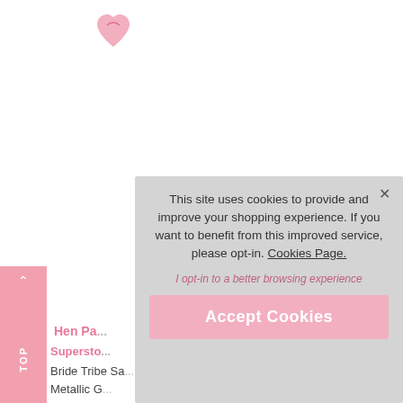[Figure (logo): Pink heart-shaped logo icon in upper left area]
^TOP
Hen Pa...
Supersto...
Bride Tribe Sa...
Metallic G...
This site uses cookies to provide and improve your shopping experience. If you want to benefit from this improved service, please opt-in. Cookies Page.
I opt-in to a better browsing experience
Accept Cookies